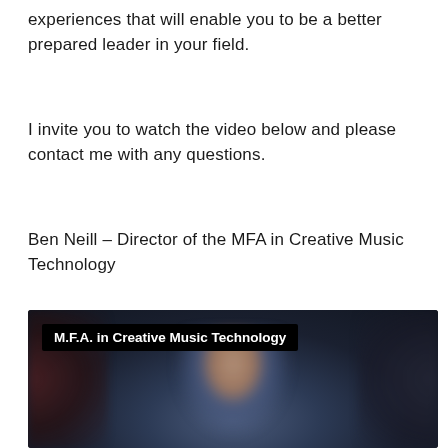experiences that will enable you to be a better prepared leader in your field.
I invite you to watch the video below and please contact me with any questions.
Ben Neill – Director of the MFA in Creative Music Technology
[Figure (screenshot): Video thumbnail showing a person in a dark setting with a black overlay label reading 'M.F.A. in Creative Music Technology' in white bold text]